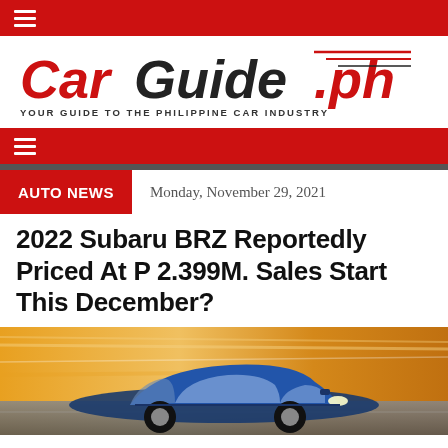≡ (navigation bar)
[Figure (logo): CarGuide.ph logo with tagline: YOUR GUIDE TO THE PHILIPPINE CAR INDUSTRY]
≡ (navigation bar)
AUTO NEWS   Monday, November 29, 2021
2022 Subaru BRZ Reportedly Priced At P 2.399M. Sales Start This December?
[Figure (photo): Photo of a blue Subaru BRZ sports car driving on a road with motion blur background in warm orange tones]